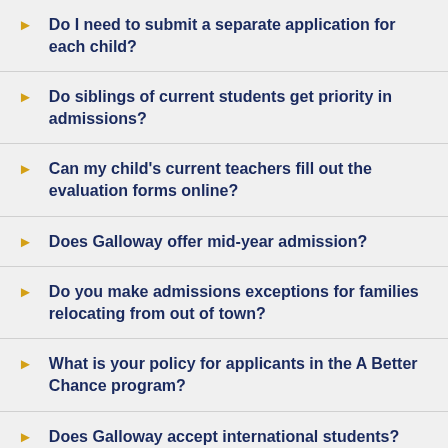Do I need to submit a separate application for each child?
Do siblings of current students get priority in admissions?
Can my child's current teachers fill out the evaluation forms online?
Does Galloway offer mid-year admission?
Do you make admissions exceptions for families relocating from out of town?
What is your policy for applicants in the A Better Chance program?
Does Galloway accept international students?